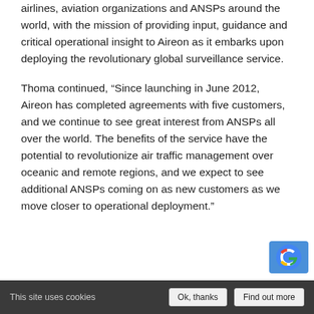airlines, aviation organizations and ANSPs around the world, with the mission of providing input, guidance and critical operational insight to Aireon as it embarks upon deploying the revolutionary global surveillance service.
Thoma continued, “Since launching in June 2012, Aireon has completed agreements with five customers, and we continue to see great interest from ANSPs all over the world. The benefits of the service have the potential to revolutionize air traffic management over oceanic and remote regions, and we expect to see additional ANSPs coming on as new customers as we move closer to operational deployment.”
This site uses cookies  Ok, thanks  Find out more